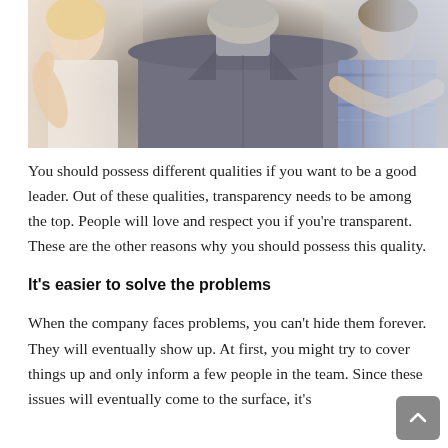[Figure (photo): A blurred photo of a man in a gray suit seen from behind, facing a group of people including a blonde woman on the left giving a thumbs up and a man in plaid on the right with arms crossed.]
You should possess different qualities if you want to be a good leader. Out of these qualities, transparency needs to be among the top. People will love and respect you if you're transparent. These are the other reasons why you should possess this quality.
It's easier to solve the problems
When the company faces problems, you can't hide them forever. They will eventually show up. At first, you might try to cover things up and only inform a few people in the team. Since these issues will eventually come to the surface, it's